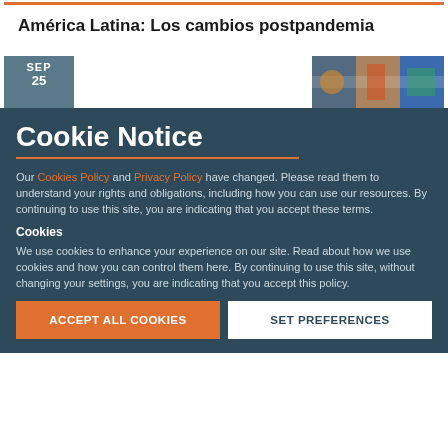América Latina: Los cambios postpandemia
[Figure (photo): Event listing with SEP 25 date label and a colorful photo of Latin American flags on the right]
Cookie Notice
Our Cookies Policy and Privacy Policy have changed. Please read them to understand your rights and obligations, including how you can use our resources. By continuing to use this site, you are indicating that you accept these terms.
Cookies
We use cookies to enhance your experience on our site. Read about how we use cookies and how you can control them here. By continuing to use this site, without changing your settings, you are indicating that you accept this policy.
ACCEPT ALL COOKIES
SET PREFERENCES